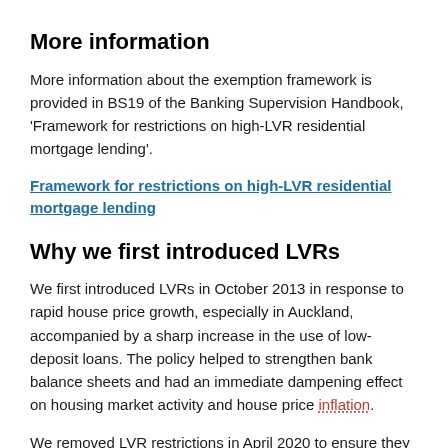More information
More information about the exemption framework is provided in BS19 of the Banking Supervision Handbook, 'Framework for restrictions on high-LVR residential mortgage lending'.
Framework for restrictions on high-LVR residential mortgage lending
Why we first introduced LVRs
We first introduced LVRs in October 2013 in response to rapid house price growth, especially in Auckland, accompanied by a sharp increase in the use of low-deposit loans. The policy helped to strengthen bank balance sheets and had an immediate dampening effect on housing market activity and house price inflation.
We removed LVR restrictions in April 2020 to ensure they did not interfere with COVID-19 policy responses aimed at promoting cash flow and confidence, including the mortgage deferral scheme. At that time, the outlook for the housing market was weak and prices